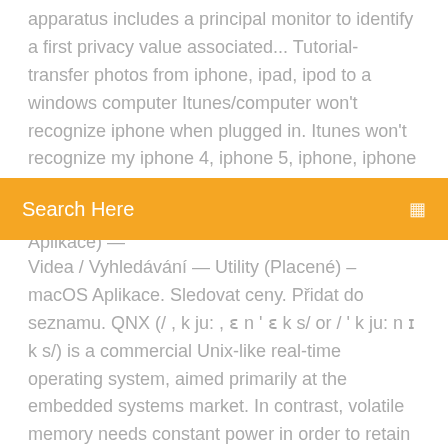apparatus includes a principal monitor to identify a first privacy value associated... Tutorial- transfer photos from iphone, ipad, ipod to a windows computer Itunes/computer won't recognize iphone when plugged in. Itunes won't recognize my iphone 4, iphone 5, iphone, iphone 3gs, iphone mac, iphone windows 8, iphone 6...Kategorie: Utility (Placené) – (macOS Aplikace) —
Search Here
Videa / Vyhledávání — Utility (Placené) – macOS Aplikace. Sledovat ceny. Přidat do seznamu. QNX (/ , k ju: , ɛ n ' ɛ k s/ or / ' k ju: n ɪ k s/) is a commercial Unix-like real-time operating system, aimed primarily at the embedded systems market. In contrast, volatile memory needs constant power in order to retain data. Examples of non-volatile memory include flash memory, read-only memory (ROM), ferroelectric RAM, most types of magnetic computer storage devices (e.g. Here you can view all TweakTown news posts from November 2011.